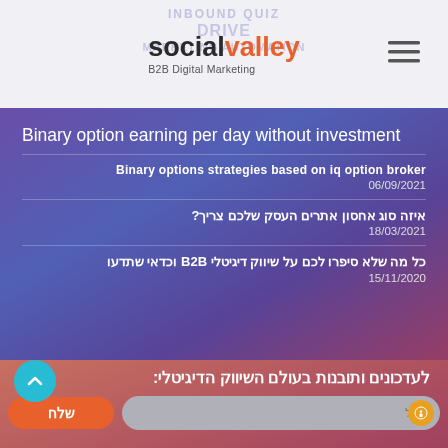[Figure (logo): Social Valley B2B Digital Marketing logo with hamburger menu icon]
Binary option earning per day without investment
Binary options strategies based on iq option broker
06/09/2021
איזה סוג אחסון אתרים העסק שלכם צריך?
18/03/2021
כל מה שלא סיפרו לכם על שיווק דיגיטלי B2B וכדאי שתדעו
15/11/2020
[Figure (infographic): Social media icons: Instagram, LinkedIn, YouTube, Facebook]
לעדכונים ותובנות בעולם השיווק הדיגיטלי: